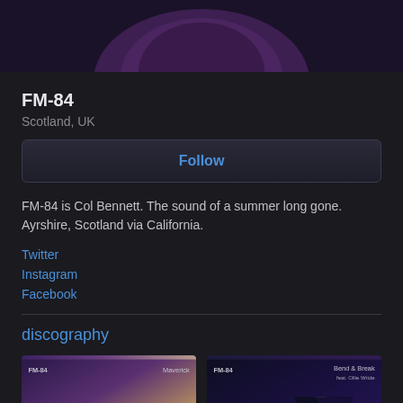[Figure (photo): Artist profile image of FM-84, partially visible at top with dark purple gradient background]
FM-84
Scotland, UK
Follow
FM-84 is Col Bennett. The sound of a summer long gone. Ayrshire, Scotland via California.
Twitter
Instagram
Facebook
discography
[Figure (photo): Album cover for FM-84 Maverick - purple to warm beige gradient with white arch shape]
[Figure (photo): Album cover for FM-84 Bend & Break feat. Ollie Wride - dark blue background with colorful geometric shapes]